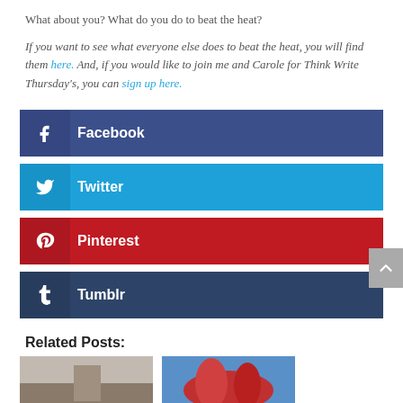What about you? What do you do to beat the heat?
If you want to see what everyone else does to beat the heat, you will find them here. And, if you would like to join me and Carole for Think Write Thursday's, you can sign up here.
[Figure (infographic): Social share buttons: Facebook (dark blue), Twitter (light blue), Pinterest (red), Tumblr (dark navy)]
Related Posts:
[Figure (photo): Two thumbnail images of related posts at bottom of page]